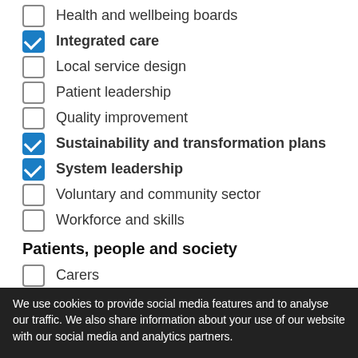Health and wellbeing boards
Integrated care
Local service design
Patient leadership
Quality improvement
Sustainability and transformation plans
System leadership
Voluntary and community sector
Workforce and skills
Patients, people and society
Carers
Children and young people
Health inequalities
Housing
We use cookies to provide social media features and to analyse our traffic. We also share information about your use of our website with our social media and analytics partners.